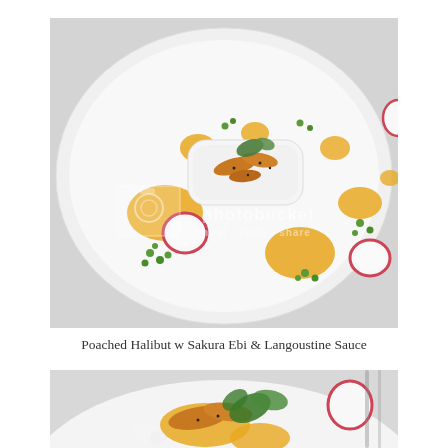[Figure (photo): Overhead view of a fine dining dish on a white plate: a rectangular block of poached halibut topped with caramelized sakura ebi (cherry shrimp) and micro greens, surrounded by dots of golden langoustine sauce, scattered green peas, and sliced radishes. A photobucket watermark is overlaid on the image.]
Poached Halibut w Sakura Ebi & Langoustine Sauce
[Figure (photo): Partial close-up view of the same or similar fine dining dish showing caramelized shrimp, micro greens (spinach leaves), golden sauce, and sliced radish on a white plate.]